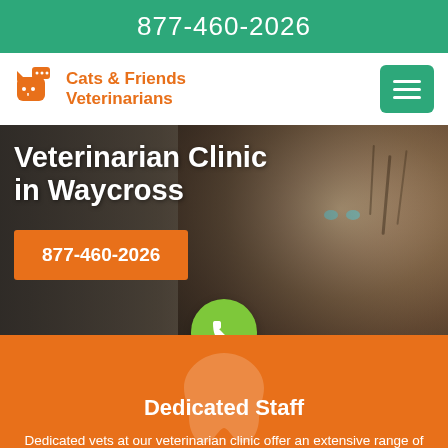877-460-2026
Cats & Friends Veterinarians
[Figure (screenshot): Website screenshot of Cats & Friends Veterinarians showing a kitten photo with hero text 'Veterinarian Clinic in Waycross' and a phone number button '877-460-2026']
Dedicated Staff
Dedicated vets at our veterinarian clinic offer an extensive range of veterinary services for pets, birds, and wild